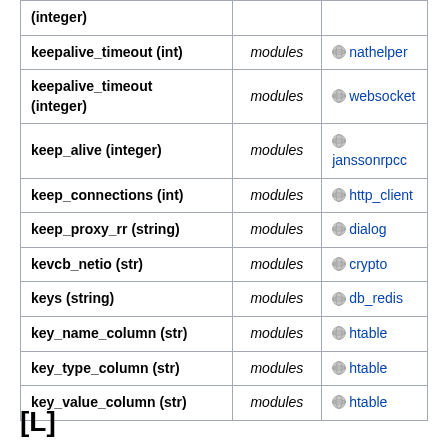| Parameter | Scope | Module |
| --- | --- | --- |
| (integer) |  |  |
| keepalive_timeout (int) | modules | nathelper |
| keepalive_timeout (integer) | modules | websocket |
| keep_alive (integer) | modules | janssonrpcc |
| keep_connections (int) | modules | http_client |
| keep_proxy_rr (string) | modules | dialog |
| kevcb_netio (str) | modules | crypto |
| keys (string) | modules | db_redis |
| key_name_column (str) | modules | htable |
| key_type_column (str) | modules | htable |
| key_value_column (str) | modules | htable |
[L]